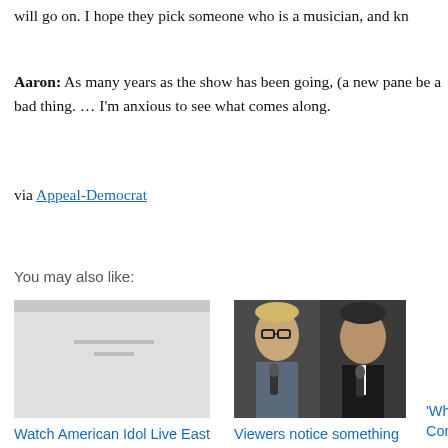will go on. I hope they pick someone who is a musician, and kn
Aaron: As many years as the show has been going, (a new pane be a bad thing. … I'm anxious to see what comes along.
via Appeal-Democrat
You may also like:
[Figure (photo): Thumbnail image for Watch American Idol Live East Coast Feed article — appears mostly gray/blank]
Watch American Idol Live East Coast Feed @5PM (PT)
[Figure (photo): Two men holding microphones side by side on stage — one with glasses and blonde hair, one older with dark hair]
Viewers notice something high-larious about Sean
'Why is Ha Connick Jr. orange?' 'Ic